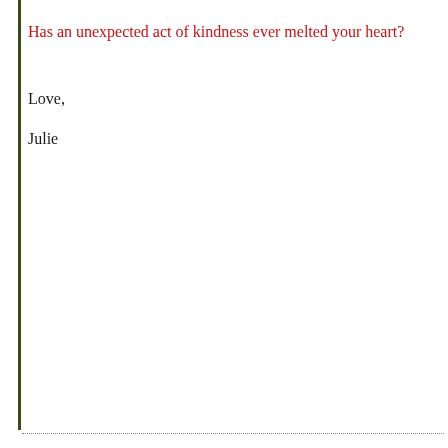Has an unexpected act of kindness ever melted your heart?
Love,
Julie
...............................................................................................................